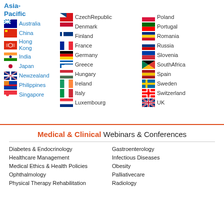Asia-Pacific
Australia
China
Hong Kong
India
Japan
New zealand
Philippines
Singapore
CzechRepublic
Denmark
Finland
France
Germany
Greece
Hungary
Ireland
Italy
Luxembourg
Poland
Portugal
Romania
Russia
Slovenia
SouthAfrica
Spain
Sweden
Switzerland
UK
Medical & Clinical Webinars & Conferences
Diabetes & Endocrinology
Healthcare Management
Medical Ethics & Health Policies
Ophthalmology
Physical Therapy Rehabilitation
Gastroenterology
Infectious Diseases
Obesity
Palliativecare
Radiology